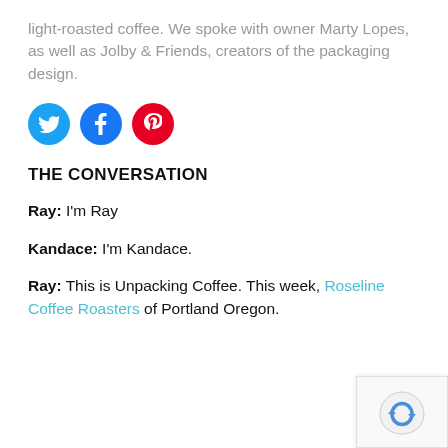light-roasted coffee. We spoke with owner Marty Lopes, as well as Jolby & Friends, creators of the packaging design.
[Figure (other): Three social media icon buttons: Twitter (blue bird), Facebook (blue f), Pinterest (red p)]
THE CONVERSATION
Ray: I'm Ray
Kandace: I'm Kandace.
Ray: This is Unpacking Coffee. This week, Roseline Coffee Roasters of Portland Oregon.